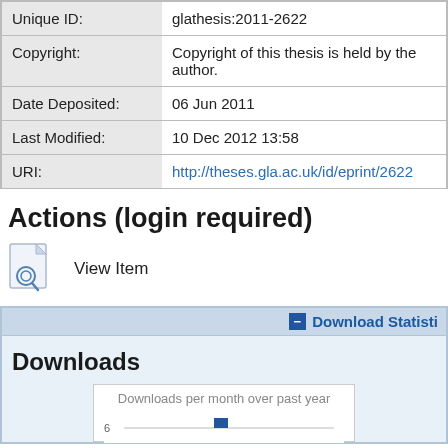| Field | Value |
| --- | --- |
| Unique ID: | glathesis:2011-2622 |
| Copyright: | Copyright of this thesis is held by the author. |
| Date Deposited: | 06 Jun 2011 |
| Last Modified: | 10 Dec 2012 13:58 |
| URI: | http://theses.gla.ac.uk/id/eprint/2622 |
Actions (login required)
View Item
Download Statistics
Downloads
[Figure (continuous-plot): Downloads per month over past year bar chart, partially visible, y-axis shows value 6]